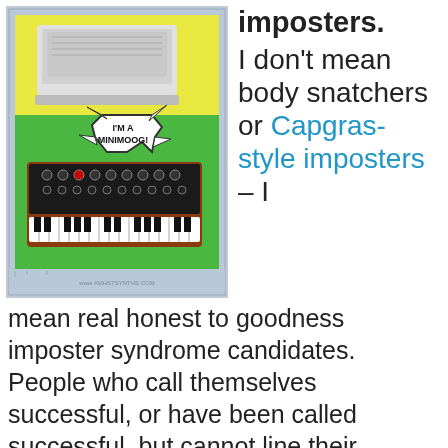[Figure (illustration): Comic-style illustration of a Minimoog synthesizer with a speech bubble saying 'I'M A MINIMOOG!' on a green and yellow background with blueprint-style borders]
imposters. I don't mean body snatchers or Capgras-style imposters – I mean real honest to goodness imposter syndrome candidates. People who call themselves successful, or have been called successful, but cannot line their accolades up with real business effectiveness or predetermined results. They can't explain if not them r...